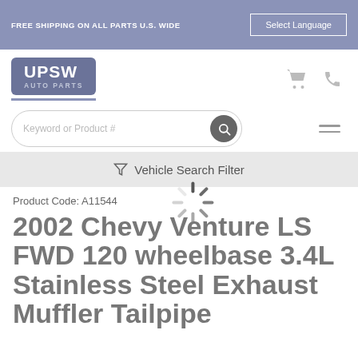FREE SHIPPING ON ALL PARTS U.S. WIDE
[Figure (logo): UPSW AUTO PARTS logo — white text on gray rounded rectangle with blue-gray underline]
[Figure (screenshot): Search bar with placeholder text 'Keyword or Product #' and search button, plus hamburger menu icon]
▽ Vehicle Search Filter
[Figure (other): Loading spinner animation overlay]
Product Code: A11544
2002 Chevy Venture LS FWD 120 wheelbase 3.4L Stainless Steel Exhaust Muffler Tailpipe